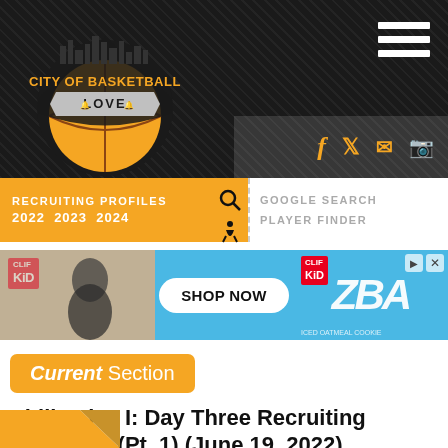[Figure (logo): City of Basketball Love circular logo with basketball, skyline silhouette, and gold/black color scheme]
City of Basketball Love — site header with navigation, social icons, hamburger menu
[Figure (infographic): Clif Kid ZBar advertisement banner — Shop Now button, blue background]
Current Section
Philly Live I: Day Three Recruiting Notebook (Pt. 1) (June 19, 2022)
06/20/2022, 12:30am EDT
By CoBL Staff